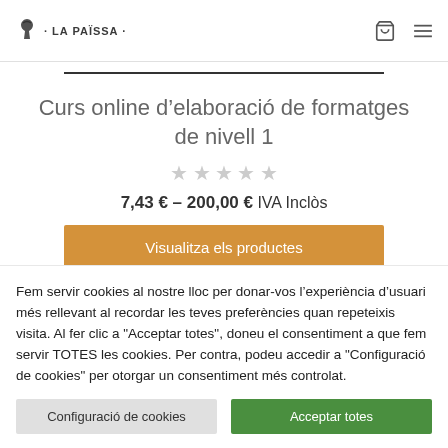· LA PAISSA ·
Curs online d'elaboració de formatges de nivell 1
7,43 € – 200,00 € IVA Inclòs
Visualitza els productes
Fem servir cookies al nostre lloc per donar-vos l'experiència d'usuari més rellevant al recordar les teves preferències quan repeteixis visita. Al fer clic a "Acceptar totes", doneu el consentiment a que fem servir TOTES les cookies. Per contra, podeu accedir a "Configuració de cookies" per otorgar un consentiment més controlat.
Configuració de cookies
Acceptar totes